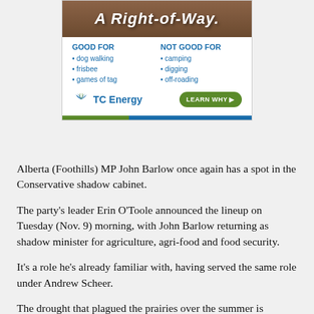[Figure (infographic): TC Energy advertisement showing 'A Right-of-Way' with two columns: GOOD FOR (dog walking, frisbee, games of tag) and NOT GOOD FOR (camping, digging, off-roading), with TC Energy logo and LEARN WHY button, green and blue bar at bottom]
Alberta (Foothills) MP John Barlow once again has a spot in the Conservative shadow cabinet.
The party's leader Erin O'Toole announced the lineup on Tuesday (Nov. 9) morning, with John Barlow returning as shadow minister for agriculture, agri-food and food security.
It's a role he's already familiar with, having served the same role under Andrew Scheer.
The drought that plagued the prairies over the summer is